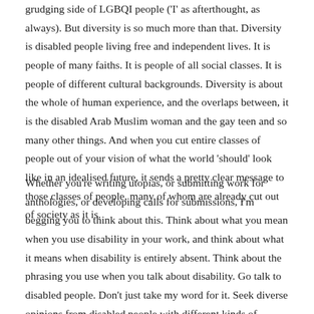grudging side of LGBQI people ('I' as afterthought, as always). But diversity is so much more than that. Diversity is disabled people living free and independent lives. It is people of many faiths. It is people of all social classes. It is people of different cultural backgrounds. Diversity is about the whole of human experience, and the overlaps between, it is the disabled Arab Muslim woman and the gay teen and so many other things. And when you cut entire classes of people out of your vision of what the world 'should' look like in an idealised future, it sends a pretty clear message to those classes of people, many of whom are already cut out of society as it is.
Whether you're writing utopias, or submitting work for anthologies, or developing calls for submissions, I'm begging you to think about this. Think about what you mean when you use disability in your work, and think about what it means when disability is entirely absent. Think about the phrasing you use when you talk about disability. Go talk to disabled people. Don't just take my word for it. Seek diverse opinions from disabled people with different kinds of impairments, disabled people living at different intersections. Be prepared for people to be angry, or frustrated, or unsympathetic, and when they are, think about why that is.